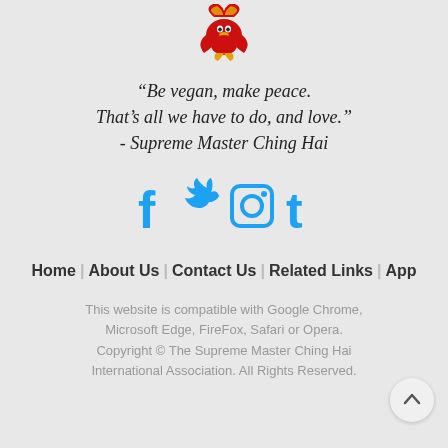[Figure (logo): Red and gold decorative logo/emblem at the top center]
“Be vegan, make peace. That’s all we have to do, and love.” - Supreme Master Ching Hai
[Figure (infographic): Social media icons: Facebook, Twitter, Instagram, Tumblr in blue]
Home   About Us   Contact Us   Related Links   App
This website is compatible with Google Chrome, Microsoft Edge, FireFox, Safari or Opera. Copyright © The Supreme Master Ching Hai International Association. All Rights Reserved.